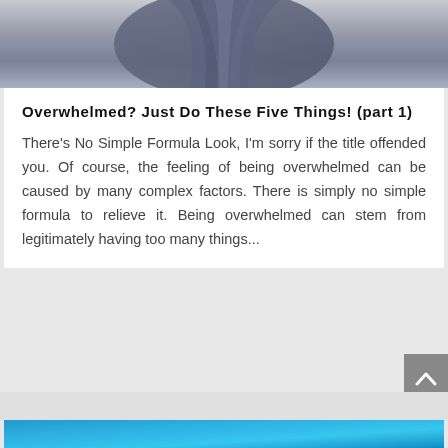[Figure (photo): Partial view of a person wearing a draped dark blue/grey fabric garment, showing the torso/fabric detail against a light grey background]
Overwhelmed? Just Do These Five Things! (part 1)
There's No Simple Formula Look, I'm sorry if the title offended you. Of course, the feeling of being overwhelmed can be caused by many complex factors. There is simply no simple formula to relieve it. Being overwhelmed can stem from legitimately having too many things...
[Figure (photo): Partial view of a blue gradient background image at the bottom of the page, appears to be the top of another article card]